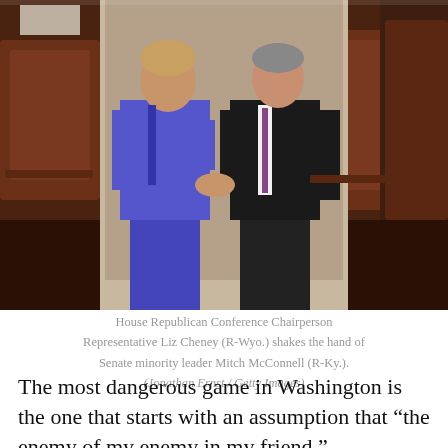[Figure (photo): Two people shaking hands in what appears to be a legislative chamber with dark leather chairs in the background. The woman on the left is wearing a purple/blue suit and the man on the right is wearing a dark suit with a striped tie.]
House Republican Conference Chairperson Representative Liz Cheney (R-Wyo.) shakes the hand of Senate minority leader Mitch McConnell (R-Ky.). (Jonathan Ernst / Getty Images)
The most dangerous game in Washington is the one that starts with an assumption that “the enemy of my enemy in my friend.”
That’s the rationale a lot of otherwise reasonable people are employing as they